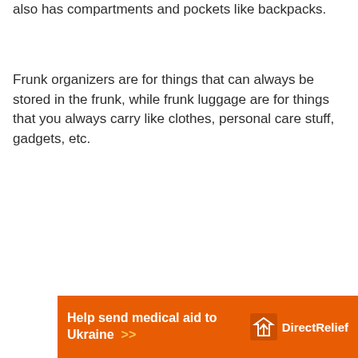also has compartments and pockets like backpacks.
Frunk organizers are for things that can always be stored in the frunk, while frunk luggage are for things that you always carry like clothes, personal care stuff, gadgets, etc.
[Figure (infographic): Orange advertisement banner for Direct Relief: 'Help send medical aid to Ukraine >>' with Direct Relief logo on the right]